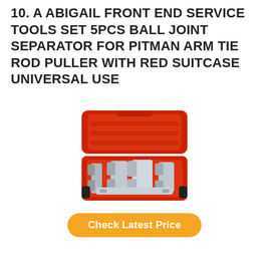10. A ABIGAIL FRONT END SERVICE TOOLS SET 5PCS BALL JOINT SEPARATOR FOR PITMAN ARM TIE ROD PULLER WITH RED SUITCASE UNIVERSAL USE
[Figure (photo): A red toolcase open showing 5-piece ball joint separator / front end service tool set with silver/chrome tools inside red carrying case with black handles]
Check Latest Price
| Features: |
| --- |
| ✓ High Quality︱A ABIGAIL Front End Service Tools Set is |
| ✓ Complete Set︱Containing 5 adjustable tools for a wide |
| ✓ Multifunction□ Allows for easy removal of the most |